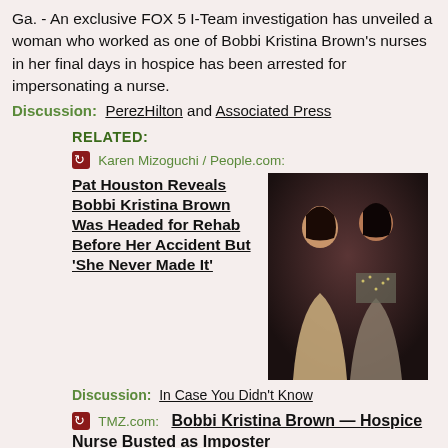Ga. - An exclusive FOX 5 I-Team investigation has unveiled a woman who worked as one of Bobbi Kristina Brown's nurses in her final days in hospice has been arrested for impersonating a nurse.
Discussion:  PerezHilton and Associated Press
RELATED:
Karen Mizoguchi / People.com: Pat Houston Reveals Bobbi Kristina Brown Was Headed for Rehab Before Her Accident But 'She Never Made It'
[Figure (photo): Photo of two women, Bobbi Kristina Brown and another woman, at an event]
Discussion:  In Case You Didn't Know
TMZ.com:  Bobbi Kristina Brown — Hospice Nurse Busted as Imposter